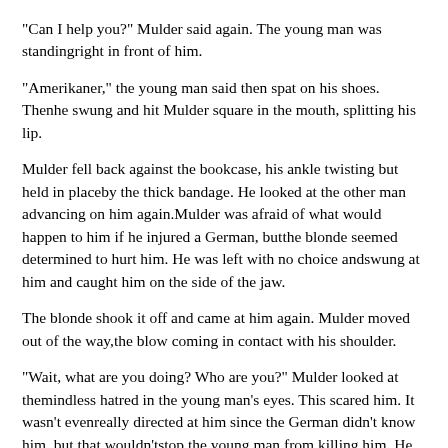"Can I help you?" Mulder said again. The young man was standingright in front of him.
"Amerikaner," the young man said then spat on his shoes. Thenhe swung and hit Mulder square in the mouth, splitting his lip.
Mulder fell back against the bookcase, his ankle twisting but held in placeby the thick bandage. He looked at the other man advancing on him again.Mulder was afraid of what would happen to him if he injured a German, butthe blonde seemed determined to hurt him. He was left with no choice andswung at him and caught him on the side of the jaw.
The blonde shook it off and came at him again. Mulder moved out of the way,the blow coming in contact with his shoulder.
"Wait, what are you doing? Who are you?" Mulder looked at themindless hatred in the young man's eyes. This scared him. It wasn't evenreally directed at him since the German didn't know him, but that wouldn'tstop the young man from killing him. He could see the desire to kill inhis eyes. "Who are you?" Mulder asked again.
Another punch came, this time in the kidneys. Mulder slumped to the floor, in pain. The young man was hitting and kicking. Mulder...